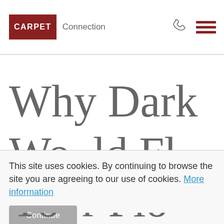[Figure (logo): Carpet Connection logo with red block containing CARPET text and Connection text beside it]
[Figure (infographic): Phone icon and hamburger menu icon in dark red]
Why Dark
This site uses cookies. By continuing to browse the site you are agreeing to our use of cookies. More information
Continue